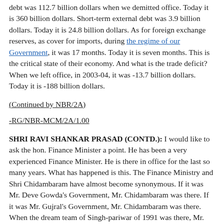debt was 112.7 billion dollars when we demitted office. Today it is 360 billion dollars. Short-term external debt was 3.9 billion dollars. Today it is 24.8 billion dollars. As for foreign exchange reserves, as cover for imports, during the regime of our Government, it was 17 months. Today it is seven months. This is the critical state of their economy. And what is the trade deficit? When we left office, in 2003-04, it was -13.7 billion dollars. Today it is -188 billion dollars.
(Continued by NBR/2A)
-RG/NBR-MCM/2A/1.00
SHRI RAVI SHANKAR PRASAD (CONTD.): I would like to ask the hon. Finance Minister a point. He has been a very experienced Finance Minister. He is there in office for the last so many years. What has happened is this. The Finance Ministry and Shri Chidambaram have almost become synonymous. If it was Mr. Deve Gowda's Government, Mr. Chidambaram was there. If it was Mr. Gujral's Government, Mr. Chidambaram was there. When the dream team of Singh-pariwar of 1991 was there, Mr. Chidambaram was there, probably, in the Department of Commerce, if I am not mistaken. Now, when the UPA comes, he is a fixture from 2004. Mr. Chidambaram, kindly ask a simple question to yourself and satisfy us. Why you cannot measure up to